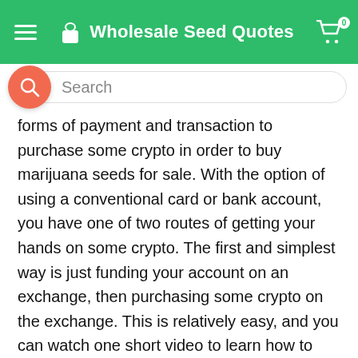Wholesale Seed Quotes
forms of payment and transaction to purchase some crypto in order to buy marijuana seeds for sale. With the option of using a conventional card or bank account, you have one of two routes of getting your hands on some crypto. The first and simplest way is just funding your account on an exchange, then purchasing some crypto on the exchange. This is relatively easy, and you can watch one short video to learn how to place an order on an exchange. It works almost exactly like a stock exchange, charts and all, so there’s a parallel that will help those who are unfamiliar with crypto learn about how to acquire it. The second way, offered only by some exchanges such as Coinbase, is by purchasing directly. These exchanges will allow you to purchase directly with your card, taking out the work of placing an order. The way that this works is that you will choose a cryptocurrency you’d like and how much you would like to